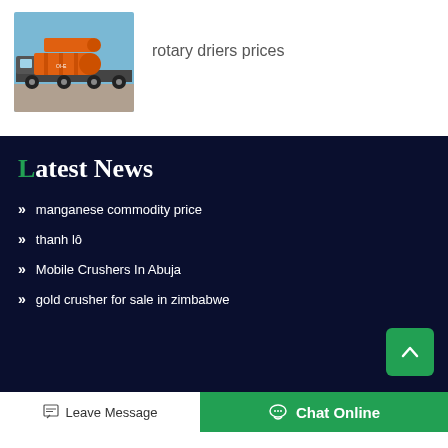[Figure (photo): Orange rotary dryer cylinders loaded on a flatbed truck, outdoors with blue sky background]
rotary driers prices
Latest News
manganese commodity price
thanh lô
Mobile Crushers In Abuja
gold crusher for sale in zimbabwe
Leave Message   Chat Online